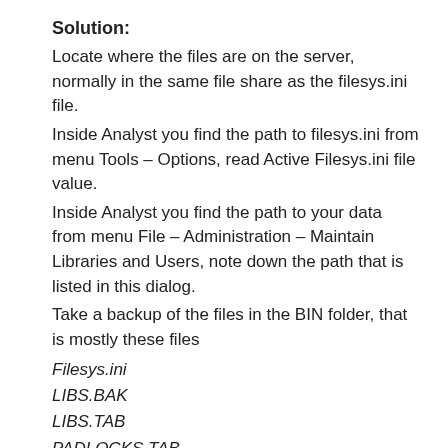Solution:
Locate where the files are on the server, normally in the same file share as the filesys.ini file.
Inside Analyst you find the path to filesys.ini from menu Tools – Options, read Active Filesys.ini file value.
Inside Analyst you find the path to your data from menu File – Administration – Maintain Libraries and Users, note down the path that is listed in this dialog.
Take a backup of the files in the BIN folder, that is mostly these files
Filesys.ini
LIBS.BAK
LIBS.TAB
PADLOCKS.TAB
UGR.BAK